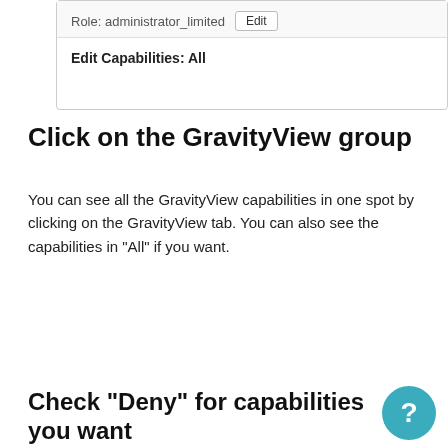[Figure (screenshot): WordPress role editor screenshot showing 'Role: administrator_limited' with an Edit button, and below a section header 'Edit Capabilities: All']
Click on the GravityView group
You can see all the GravityView capabilities in one spot by clicking on the GravityView tab. You can also see the capabilities in "All" if you want.
[Figure (screenshot): Plugin admin UI showing a sidebar menu with items: Users (person icon), Custom (gear icon), GravityView (globe icon) with a click cursor on GravityView]
Check "Deny" for capabilities you want to remove